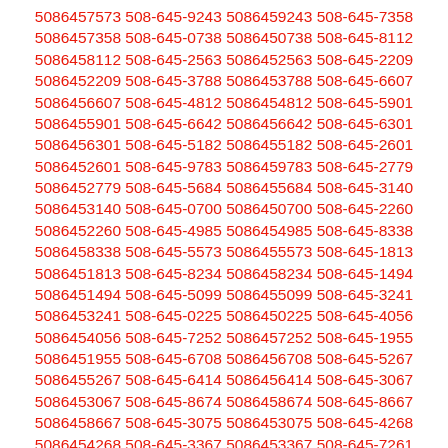5086457573 508-645-9243 5086459243 508-645-7358 5086457358 508-645-0738 5086450738 508-645-8112 5086458112 508-645-2563 5086452563 508-645-2209 5086452209 508-645-3788 5086453788 508-645-6607 5086456607 508-645-4812 5086454812 508-645-5901 5086455901 508-645-6642 5086456642 508-645-6301 5086456301 508-645-5182 5086455182 508-645-2601 5086452601 508-645-9783 5086459783 508-645-2779 5086452779 508-645-5684 5086455684 508-645-3140 5086453140 508-645-0700 5086450700 508-645-2260 5086452260 508-645-4985 5086454985 508-645-8338 5086458338 508-645-5573 5086455573 508-645-1813 5086451813 508-645-8234 5086458234 508-645-1494 5086451494 508-645-5099 5086455099 508-645-3241 5086453241 508-645-0225 5086450225 508-645-4056 5086454056 508-645-7252 5086457252 508-645-1955 5086451955 508-645-6708 5086456708 508-645-5267 5086455267 508-645-6414 5086456414 508-645-3067 5086453067 508-645-8674 5086458674 508-645-8667 5086458667 508-645-3075 5086453075 508-645-4268 5086454268 508-645-3367 5086453367 508-645-7261 5086457261 508-645-5898 5086455898 508-645-2488 5086452488 508-645-5364 5086455364 508-645-0484 5086450484 508-645-1180 5086451180 508-645-5512 5086455512 508-645-5548 5086455548 508-645-9913